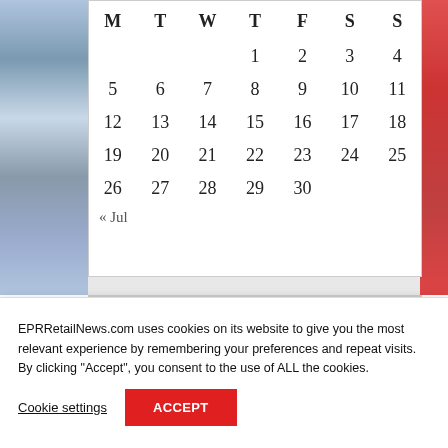| M | T | W | T | F | S | S |
| --- | --- | --- | --- | --- | --- | --- |
|  |  |  | 1 | 2 | 3 | 4 |
| 5 | 6 | 7 | 8 | 9 | 10 | 11 |
| 12 | 13 | 14 | 15 | 16 | 17 | 18 |
| 19 | 20 | 21 | 22 | 23 | 24 | 25 |
| 26 | 27 | 28 | 29 | 30 |  |  |
« Jul
ADS
EPRRetailNews.com uses cookies on its website to give you the most relevant experience by remembering your preferences and repeat visits. By clicking “Accept”, you consent to the use of ALL the cookies.
Cookie settings
ACCEPT